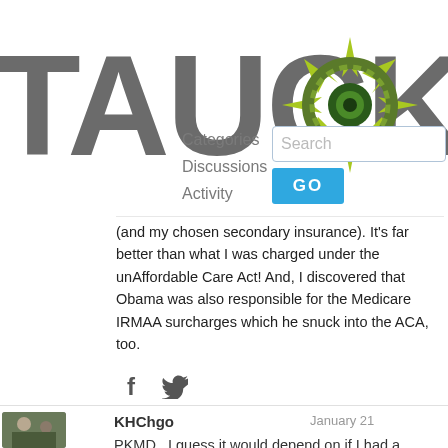[Figure (logo): TAUCK logo with compass rose graphic in green and dark colors]
Categories  Discussions  Activity  Search  GO
(and my chosen secondary insurance). It's far better than what I was charged under the unAffordable Care Act! And, I discovered that Obama was also responsible for the Medicare IRMAA surcharges which he snuck into the ACA, too.
[Figure (other): Facebook and Twitter share icons]
KHChgo   January 21
PKMD...I guess it would depend on if I had a